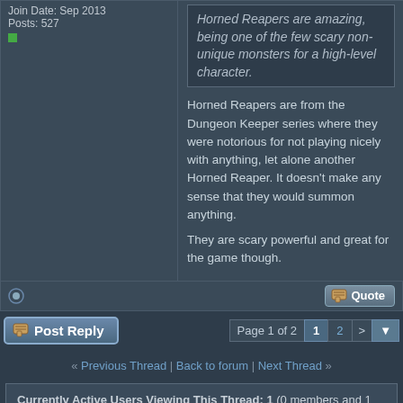Join Date: Sep 2013
Posts: 527
Horned Reapers are amazing, being one of the few scary non-unique monsters for a high-level character.
Horned Reapers are from the Dungeon Keeper series where they were notorious for not playing nicely with anything, let alone another Horned Reaper. It doesn't make any sense that they would summon anything.

They are scary powerful and great for the game though.
Post Reply | Page 1 of 2  1  2  >
« Previous Thread | Back to forum | Next Thread »
Currently Active Users Viewing This Thread: 1 (0 members and 1 guests)